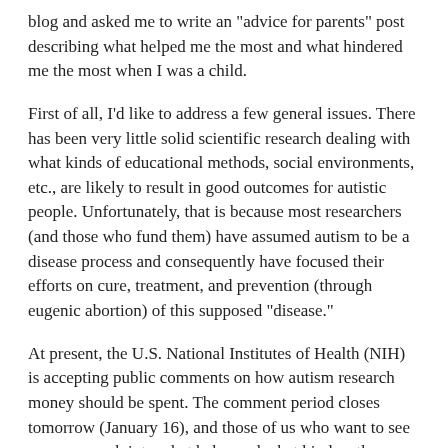blog and asked me to write an "advice for parents" post describing what helped me the most and what hindered me the most when I was a child.
First of all, I'd like to address a few general issues. There has been very little solid scientific research dealing with what kinds of educational methods, social environments, etc., are likely to result in good outcomes for autistic people. Unfortunately, that is because most researchers (and those who fund them) have assumed autism to be a disease process and consequently have focused their efforts on cure, treatment, and prevention (through eugenic abortion) of this supposed "disease."
At present, the U.S. National Institutes of Health (NIH) is accepting public comments on how autism research money should be spent. The comment period closes tomorrow (January 16), and those of us who want to see more research into what helps and what hinders the development of autistic children should take advantage of this opportunity for the general public to influence the direction of autism research (an opportunity that doesn't happen very often) by sending a comment to iacc@mail.nih.gov. The email subject heading should include "Public Comment on